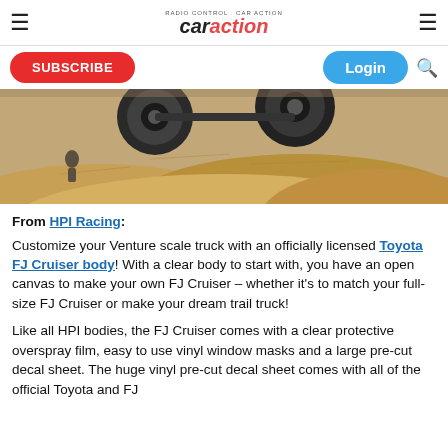car action
[Figure (photo): RC truck (Venture scale truck) airborne over a sand/dirt mound, outdoor terrain scene, person visible in background]
From HPI Racing: Customize your Venture scale truck with an officially licensed Toyota FJ Cruiser body! With a clear body to start with, you have an open canvas to make your own FJ Cruiser – whether it's to match your full-size FJ Cruiser or make your dream trail truck!
Like all HPI bodies, the FJ Cruiser comes with a clear protective overspray film, easy to use vinyl window masks and a large pre-cut decal sheet. The huge vinyl pre-cut decal sheet comes with all of the official Toyota and FJ